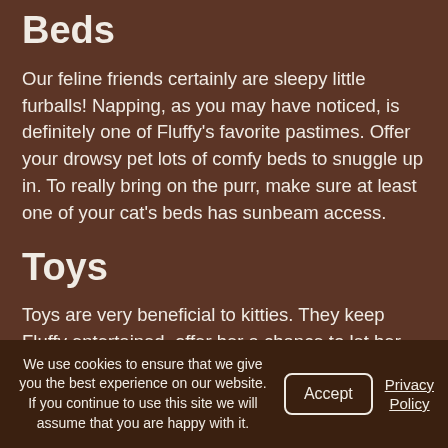Beds
Our feline friends certainly are sleepy little furballs! Napping, as you may have noticed, is definitely one of Fluffy's favorite pastimes. Offer your drowsy pet lots of comfy beds to snuggle up in. To really bring on the purr, make sure at least one of your cat's beds has sunbeam access.
Toys
Toys are very beneficial to kitties. They keep Fluffy entertained, offer her a chance to let her inner huntress out, and promote physical and mental health. Make sure your furball has lots of toys to play with. You can get classic cat toys, like catnip mice or little balls, or go with something more high-tech, like a laser pointer or a robotic mouse. You can even download games for your kitty to play on your tablet or phone!
We use cookies to ensure that we give you the best experience on our website. If you continue to use this site we will assume that you are happy with it.
Accept
Privacy Policy